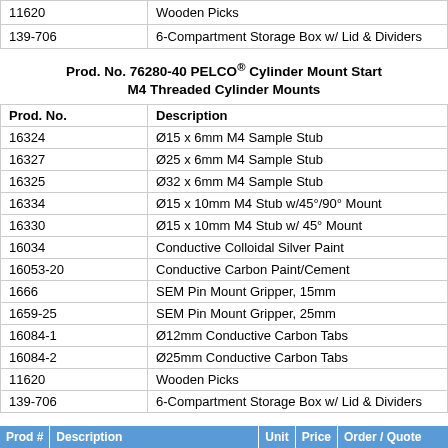| Prod. No. | Description |
| --- | --- |
| 11620 | Wooden Picks |
| 139-706 | 6-Compartment Storage Box w/ Lid & Dividers |
Prod. No. 76280-40 PELCO® Cylinder Mount Starter Kit: M4 Threaded Cylinder Mounts
| Prod. No. | Description |
| --- | --- |
| 16324 | Ø15 x 6mm M4 Sample Stub |
| 16327 | Ø25 x 6mm M4 Sample Stub |
| 16325 | Ø32 x 6mm M4 Sample Stub |
| 16334 | Ø15 x 10mm M4 Stub w/45°/90° Mount |
| 16330 | Ø15 x 10mm M4 Stub w/ 45° Mount |
| 16034 | Conductive Colloidal Silver Paint |
| 16053-20 | Conductive Carbon Paint/Cement |
| 1666 | SEM Pin Mount Gripper, 15mm |
| 1659-25 | SEM Pin Mount Gripper, 25mm |
| 16084-1 | Ø12mm Conductive Carbon Tabs |
| 16084-2 | Ø25mm Conductive Carbon Tabs |
| 11620 | Wooden Picks |
| 139-706 | 6-Compartment Storage Box w/ Lid & Dividers |
| Prod # | Description | Unit | Price | Order / Quote |
| --- | --- | --- | --- | --- |